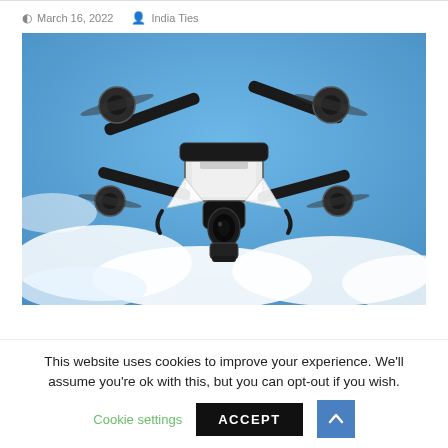March 16, 2022  India Ties
[Figure (photo): A professional camera drone (DJI Inspire style) with black arms, white body, and a large camera gimbal, photographed from below against a blue sky with white clouds.]
This website uses cookies to improve your experience. We'll assume you're ok with this, but you can opt-out if you wish.
Cookie settings   ACCEPT